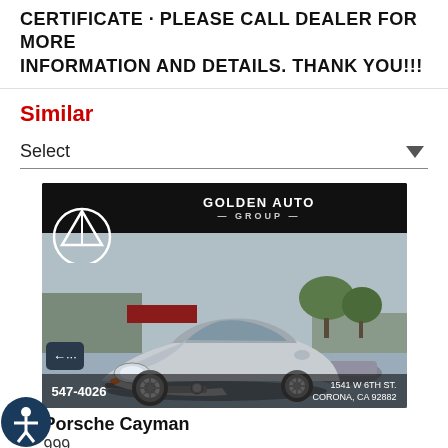CERTIFICATE · PLEASE CALL DEALER FOR MORE INFORMATION AND DETAILS. THANK YOU!!!
Similar
Select
[Figure (photo): Photo of a silver Porsche Cayman sports car parked in a lot in front of a dealership building. The image has a Golden Auto Group dealer header bar at the top with a logo and the dealer name. The bottom bar shows a phone number ending in 547-4026 and address 1541 W 6TH ST, CORONA, CA 92882. A back navigation arrow button and accessibility icon overlay the image.]
Porsche Cayman
999